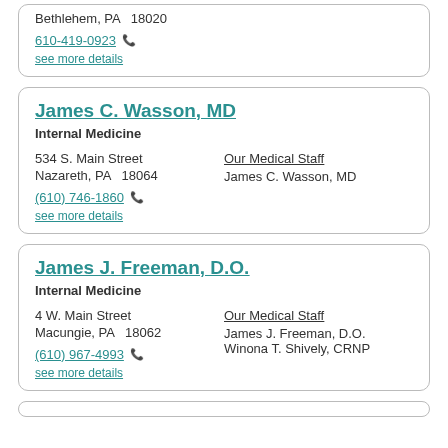Bethlehem, PA   18020
610-419-0923
see more details
James C. Wasson, MD
Internal Medicine
534 S. Main Street
Nazareth, PA   18064
(610) 746-1860
see more details
Our Medical Staff
James C. Wasson, MD
James J. Freeman, D.O.
Internal Medicine
4 W. Main Street
Macungie, PA   18062
(610) 967-4993
see more details
Our Medical Staff
James J. Freeman, D.O.
Winona T. Shively, CRNP